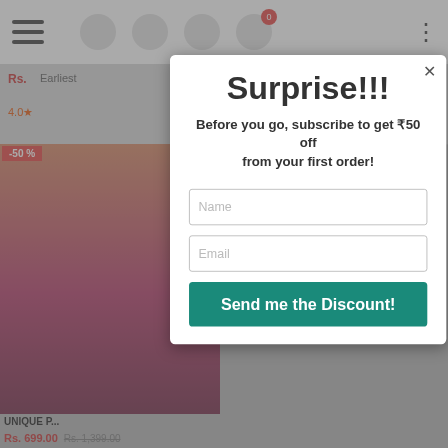[Figure (screenshot): E-commerce website background showing a navigation bar, product listing strip with price Rs. and review information, and a product card with -50% discount badge for a traditional Indian garment priced Rs. 699.00 (was Rs. 1,399.00)]
Surprise!!!
Before you go, subscribe to get ₹50 off from your first order!
Name
Email
Send me the Discount!